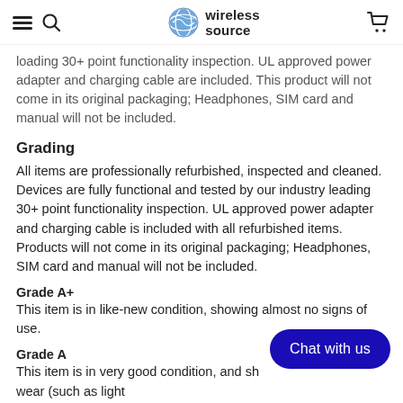wireless source
loading 30+ point functionality inspection. UL approved power adapter and charging cable are included. This product will not come in its original packaging; Headphones, SIM card and manual will not be included.
Grading
All items are professionally refurbished, inspected and cleaned. Devices are fully functional and tested by our industry leading 30+ point functionality inspection. UL approved power adapter and charging cable is included with all refurbished items. Products will not come in its original packaging; Headphones, SIM card and manual will not be included.
Grade A+
This item is in like-new condition, showing almost no signs of use.
Grade A
This item is in very good condition, and sh... wear (such as light scratches